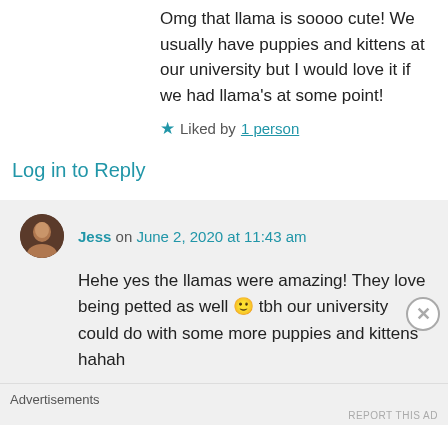Omg that llama is soooo cute! We usually have puppies and kittens at our university but I would love it if we had llama's at some point!
★ Liked by 1 person
Log in to Reply
Jess on June 2, 2020 at 11:43 am
Hehe yes the llamas were amazing! They love being petted as well 🙂 tbh our university could do with some more puppies and kittens hahah
Advertisements